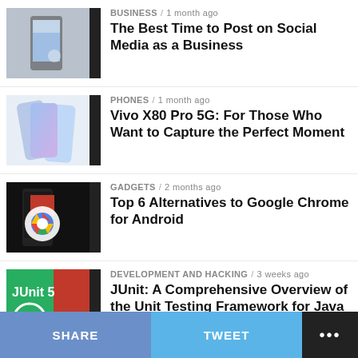[Figure (photo): Person holding a smartphone showing social media]
BUSINESS / 1 month ago
The Best Time to Post on Social Media as a Business
[Figure (photo): Vivo X80 Pro 5G smartphone on light background]
PHONES / 1 month ago
Vivo X80 Pro 5G: For Those Who Want to Capture the Perfect Moment
[Figure (photo): Google Chrome logo on a smartphone on dark background]
GADGETS / 2 months ago
Top 6 Alternatives to Google Chrome for Android
[Figure (illustration): JUnit 5 logo on green and red background]
DEVELOPMENT AND HACKING / 3 weeks ago
JUnit: A Comprehensive Overview of the Unit Testing Framework for Java Programmers
[Figure (photo): Person in business attire, partially visible]
BUSINESS / 2 months ago